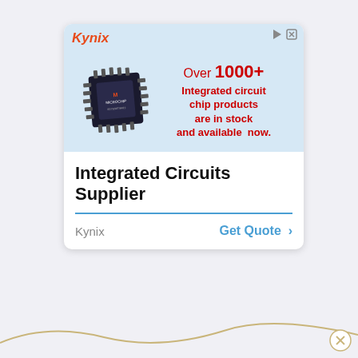[Figure (infographic): Kynix advertisement card showing a Microchip integrated circuit chip with text 'Over 1000+ Integrated circuit chip products are in stock and available now.' The card has a light blue banner section at the top with the Kynix logo, and a white bottom section with the title 'Integrated Circuits Supplier', a Kynix brand label, and a 'Get Quote >' call-to-action button.]
[Figure (illustration): A decorative gold/tan wavy line at the bottom of the page with a small circular close button (X) on the right side.]